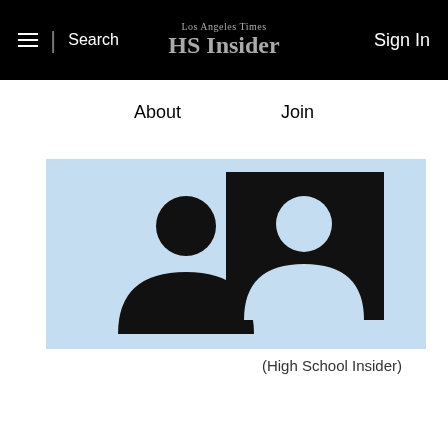Los Angeles Times HS Insider — Search | Sign In
About    Join
[Figure (illustration): Two generic person silhouette icons on a light blue background — a smaller foreground figure and a larger background figure inside a black square frame, representing HS Insider users.]
(High School Insider)